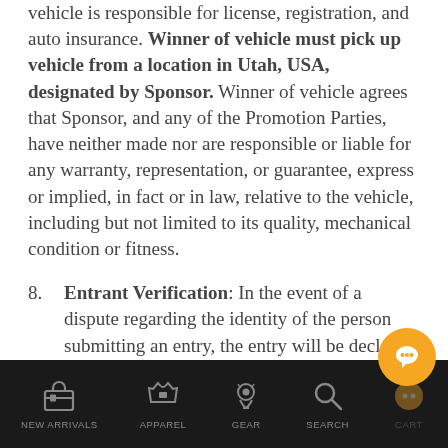vehicle is responsible for license, registration, and auto insurance. Winner of vehicle must pick up vehicle from a location in Utah, USA, designated by Sponsor. Winner of vehicle agrees that Sponsor, and any of the Promotion Parties, have neither made nor are responsible or liable for any warranty, representation, or guarantee, express or implied, in fact or in law, relative to the vehicle, including but not limited to its quality, mechanical condition or fitness.
8. Entrant Verification: In the event of a dispute regarding the identity of the person submitting an entry, the entry will be declared made by the person in whose...
NEW ARRIVALS | APPAREL | GEAR | SEARCH | CART